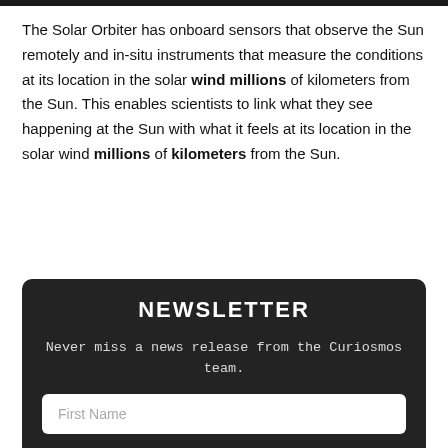The Solar Orbiter has onboard sensors that observe the Sun remotely and in-situ instruments that measure the conditions at its location in the solar wind millions of kilometers from the Sun. This enables scientists to link what they see happening at the Sun with what it feels at its location in the solar wind millions of kilometers from the Sun.
NEWSLETTER
Never miss a news release from the Curiosmos team.
First Name